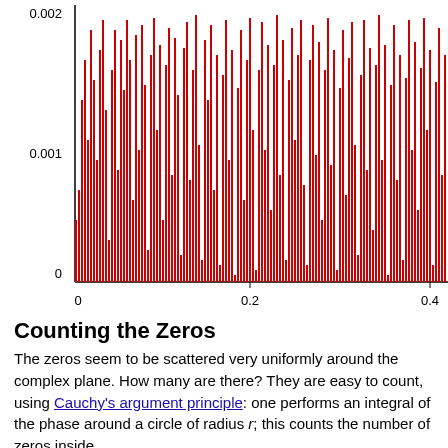[Figure (continuous-plot): A dense waveform/spike plot showing rapidly oscillating values between 0 and ~0.002, with y-axis labels 0, 0.001, 0.002 and x-axis labels 0, 0.2, 0.4. The plot is cropped on the right side. Red vertical spikes fill most of the chart area.]
Counting the Zeros
The zeros seem to be scattered very uniformly around the complex plane. How many are there? They are easy to count, using Cauchy's argument principle: one performs an integral of the phase around a circle of radius r; this counts the number of zeros inside